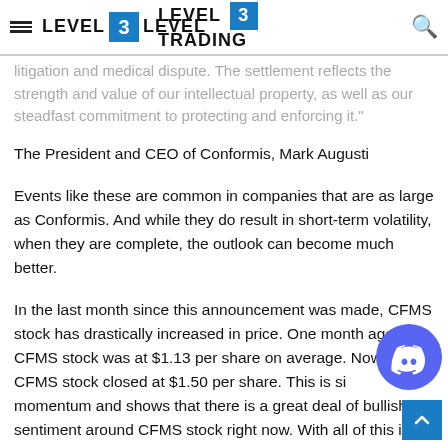Level 3 Trading
litigation and medical dispute. The settlement reflects the strength and value of our intellectual property, as well as our steadfast commitment to protecting and enforcing it."
The President and CEO of Conformis, Mark Augusti
Events like these are common in companies that are as large as Conformis. And while they do result in short-term volatility, when they are complete, the outlook can become much better.
In the last month since this announcement was made, CFMS stock has drastically increased in price. One month ago, CFMS stock was at $1.13 per share on average. Now, 30th, CFMS stock closed at $1.50 per share. This is significant momentum and shows that there is a great deal of bullish sentiment around CFMS stock right now. With all of this in